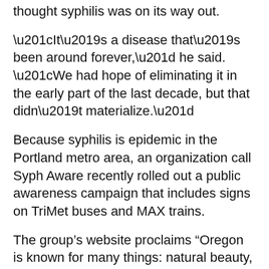thought syphilis was on its way out.
“It’s a disease that’s been around forever,” he said. “We had hope of eliminating it in the early part of the last decade, but that didn’t materialize.”
Because syphilis is epidemic in the Portland metro area, an organization call Syph Aware recently rolled out a public awareness campaign that includes signs on TriMet buses and MAX trains.
The group’s website proclaims “Oregon is known for many things: natural beauty, coffee, beer and pinot noir. Did you know that Oregon is also known for syphilis?”
Syphilis … [The rest of a sentence cut off at bottom]